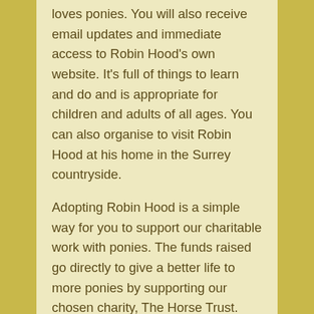loves ponies. You will also receive email updates and immediate access to Robin Hood's own website. It's full of things to learn and do and is appropriate for children and adults of all ages. You can also organise to visit Robin Hood at his home in the Surrey countryside.
Adopting Robin Hood is a simple way for you to support our charitable work with ponies. The funds raised go directly to give a better life to more ponies by supporting our chosen charity, The Horse Trust.
How much does adopt a Shetland pony cost?